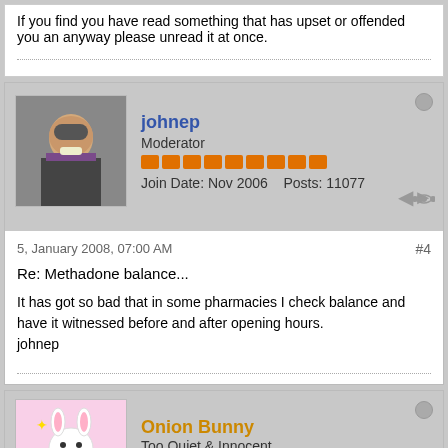If you find you have read something that has upset or offended you an anyway please unread it at once.
[Figure (photo): Avatar photo of johnep, an older man with glasses and bow tie]
johnep
Moderator
Join Date: Nov 2006  Posts: 11077
5, January 2008, 07:00 AM
#4
Re: Methadone balance...

It has got so bad that in some pharmacies I check balance and have it witnessed before and after opening hours.
johnep
[Figure (illustration): Avatar illustration of Onion Bunny, a cartoon bunny character]
Onion Bunny
Too Quiet & Innocent
Join Date: May 2007  Posts: 152